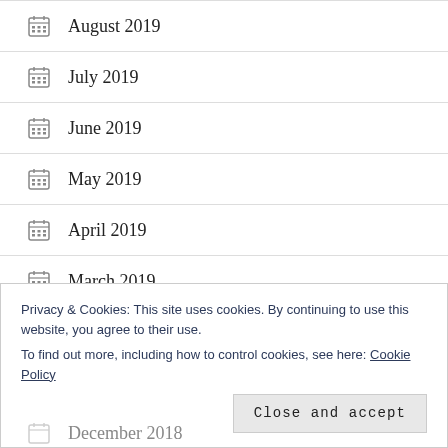August 2019
July 2019
June 2019
May 2019
April 2019
March 2019
Privacy & Cookies: This site uses cookies. By continuing to use this website, you agree to their use.
To find out more, including how to control cookies, see here: Cookie Policy
December 2018